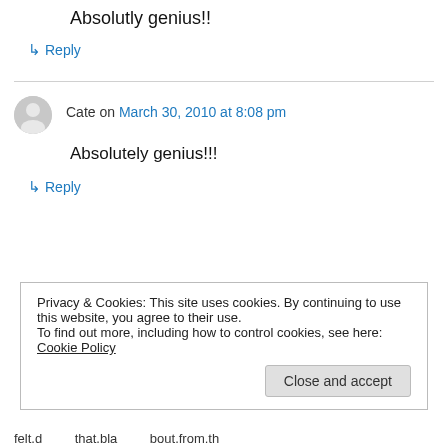Absolutly genius!!
↳ Reply
Cate on March 30, 2010 at 8:08 pm
Absolutely genius!!!
↳ Reply
Privacy & Cookies: This site uses cookies. By continuing to use this website, you agree to their use.
To find out more, including how to control cookies, see here: Cookie Policy
Close and accept
felt.d.............that.bla.........about.from.th